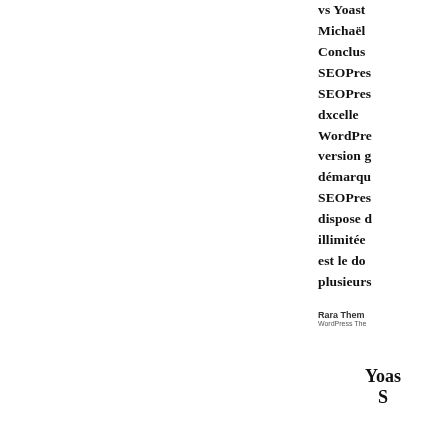vs Yoast Michaël Conclus SEOPres SEOPres dxcelle WordPress version p démarqu SEOPres dispose d illimitée est le do plusieurs
[Figure (logo): Rara Themes WordPress Themes logo]
Yoas S